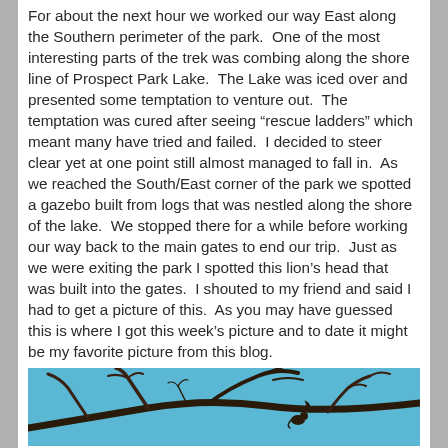For about the next hour we worked our way East along the Southern perimeter of the park.  One of the most interesting parts of the trek was combing along the shore line of Prospect Park Lake.  The Lake was iced over and presented some temptation to venture out.  The temptation was cured after seeing “rescue ladders” which meant many have tried and failed.  I decided to steer clear yet at one point still almost managed to fall in.  As we reached the South/East corner of the park we spotted a gazebo built from logs that was nestled along the shore of the lake.  We stopped there for a while before working our way back to the main gates to end our trip.  Just as we were exiting the park I spotted this lion’s head that was built into the gates.  I shouted to my friend and said I had to get a picture of this.  As you may have guessed this is where I got this week’s picture and to date it might be my favorite picture from this blog.
[Figure (photo): Photo of bare tree branches silhouetted against a blue sky, partially visible at the bottom of the page]